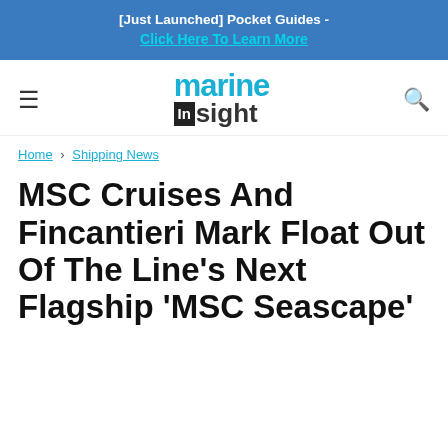[Just Launched] Pocket Guides - Click Here To Learn More
[Figure (logo): Marine Insight website logo with hamburger menu and search icon]
Home › Shipping News
MSC Cruises And Fincantieri Mark Float Out Of The Line's Next Flagship 'MSC Seascape'